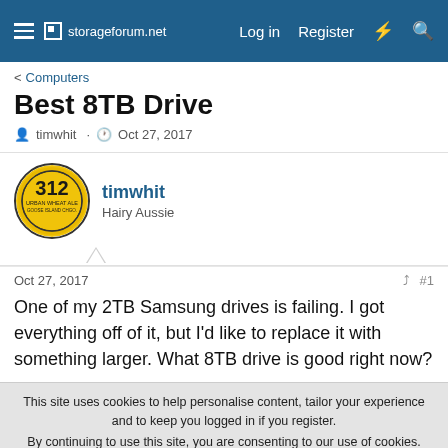storageforum.net  Log in  Register
< Computers
Best 8TB Drive
timwhit · Oct 27, 2017
timwhit
Hairy Aussie
Oct 27, 2017  #1
One of my 2TB Samsung drives is failing. I got everything off of it, but I'd like to replace it with something larger. What 8TB drive is good right now?
This site uses cookies to help personalise content, tailor your experience and to keep you logged in if you register.
By continuing to use this site, you are consenting to our use of cookies.
Accept  Learn more...